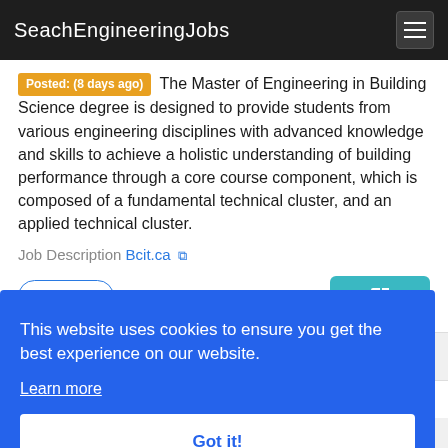SeachEngineeringJobs
Posted: (8 days ago) The Master of Engineering in Building Science degree is designed to provide students from various engineering disciplines with advanced knowledge and skills to achieve a holistic understanding of building performance through a core course component, which is composed of a fundamental technical cluster, and an applied technical cluster.
Job Description Bcit.ca
This website uses cookies to ensure you get the best experience on our website.
Learn more
Got it!
contaminated sites, water treatment, contaminant